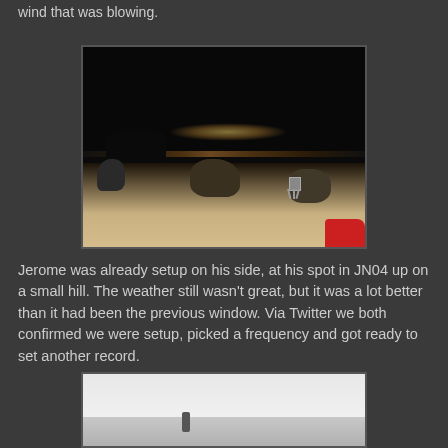wind that was blowing.
[Figure (photo): Night-time outdoor photo showing a rocky hilltop with sandy ground, rocks, a small piece of equipment on a tripod, city lights glowing in the distant background, and a red car partially visible at the lower right.]
Jerome was already setup on his side, at his spot in JN04 up on a small hill. The weather still wasn't great, but it was a lot better than it had been the previous window. Via Twitter we both confirmed we were setup, picked a frequency and got ready to set another record.
[Figure (photo): Daytime outdoor foggy/overcast scene showing a misty landscape with a figure or equipment visible in the background.]